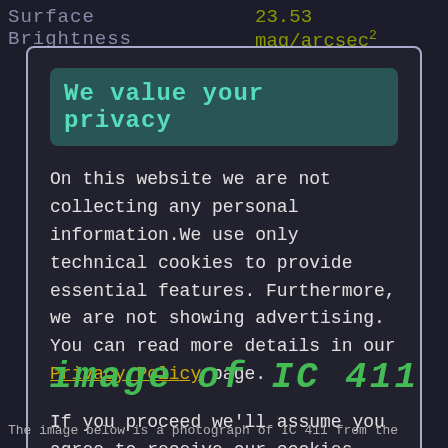Surface Brightness   23.53 mag/arcsec²
We value your privacy
On this website we are not collecting any personal information.We use only technical cookies to provide essential features. Furthermore, we are not showing advertising. You can read more details in our Privacy Policy page.
If you proceed we'll assume you agree to receive our cookies. Thank you.
Proceed to TheSkyLive.com
image of IC 411
The image below is a photograph of IC 411 from the